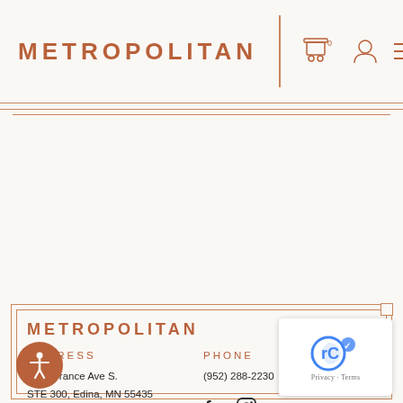METROPOLITAN
METROPOLITAN
ADDRESS
7300 France Ave S.
STE 300, Edina, MN 55435
PHONE
(952) 288-2230
HOURS
DISCLAIMERS